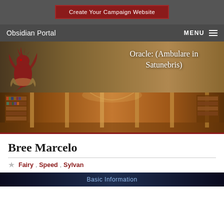Create Your Campaign Website
Obsidian Portal   MENU
Oracle: (Ambulare in Satunebris)
[Figure (illustration): Red dragon logo illustration on sepia/golden hero background with fantasy castle]
[Figure (photo): Panoramic photo of an ornate historic library interior with tall bookshelves and columns]
Bree Marcelo
Fairy
Speed
Sylvan
Basic Information